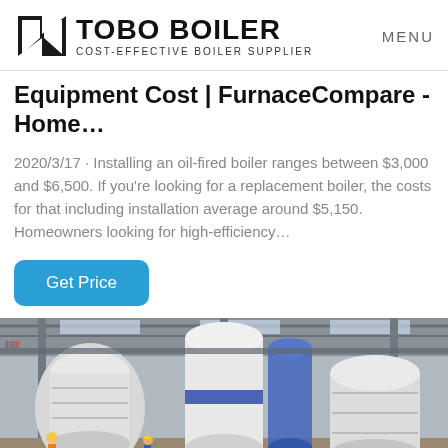TOBO BOILER COST-EFFECTIVE BOILER SUPPLIER | MENU
Equipment Cost | FurnaceCompare - Home…
2020/3/17 · Installing an oil-fired boiler ranges between $3,000 and $6,500. If you're looking for a replacement boiler, the costs for that including installation average around $5,150. Homeowners looking for high-efficiency…
Get Price
[Figure (photo): Factory floor showing large white cylindrical boiler units wrapped in protective covering, with workers in hard hats and an industrial warehouse facility in the background with overhead cranes.]